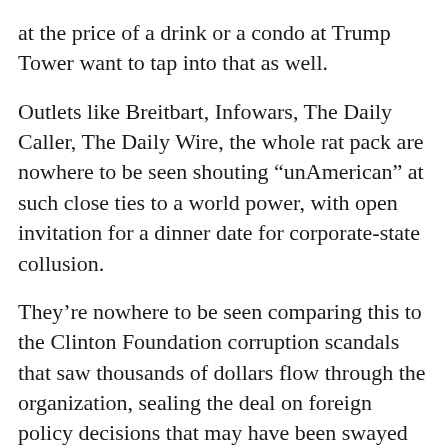at the price of a drink or a condo at Trump Tower want to tap into that as well.
Outlets like Breitbart, Infowars, The Daily Caller, The Daily Wire, the whole rat pack are nowhere to be seen shouting “unAmerican” at such close ties to a world power, with open invitation for a dinner date for corporate-state collusion.
They’re nowhere to be seen comparing this to the Clinton Foundation corruption scandals that saw thousands of dollars flow through the organization, sealing the deal on foreign policy decisions that may have been swayed if not for a big fat wallet.
It shouldn’t have to be explained why conflicts of interest, whether they lead to the right policies or not, are an unprincipled stance that could see bad government sold to the highest bidder — but when